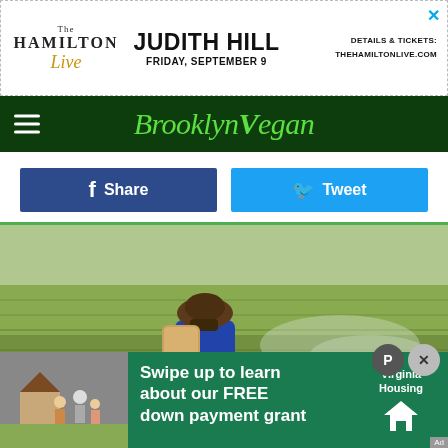[Figure (other): Advertisement banner for The Hamilton Live: Judith Hill, Friday September 9. Details & Tickets: thehamiltonlive.com]
BrooklynVegan navigation bar with hamburger menu and logo
Share | Tweet (social share buttons)
[Figure (photo): Person wearing hat and face mask, carrying backpack sprayer, spraying pesticide/herbicide on a green agricultural field]
[Figure (other): Virginia Housing advertisement overlay: Swipe up to learn about our FREE down payment grant]